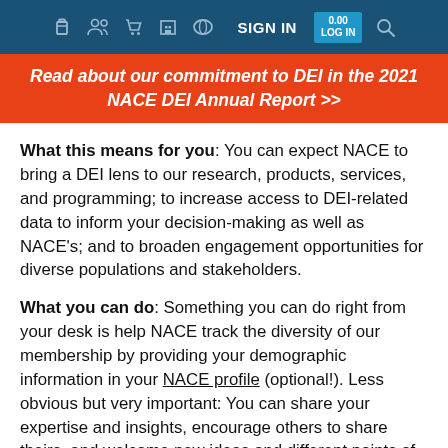SIGN IN
Read about our commitment to DEI in the 2021 NACE DEI Annual Report >>
What this means for you: You can expect NACE to bring a DEI lens to our research, products, services, and programming; to increase access to DEI-related data to inform your decision-making as well as NACE's; and to broaden engagement opportunities for diverse populations and stakeholders.
What you can do: Something you can do right from your desk is help NACE track the diversity of our membership by providing your demographic information in your NACE profile (optional!). Less obvious but very important: You can share your expertise and insights, encourage others to share theirs, and welcome new ideas and different points of